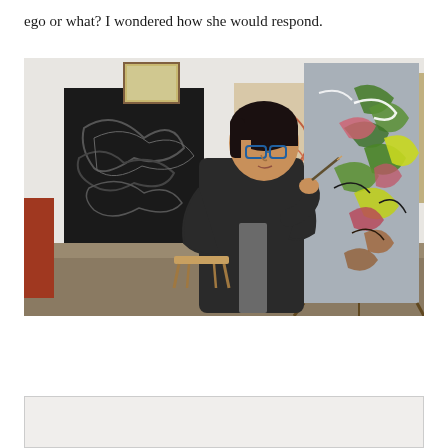ego or what? I wondered how she would respond.
[Figure (photo): An artist (woman with short dark hair and glasses) standing in an art studio, painting on a large canvas on an easel. The canvas shows colorful floral/abstract brushwork in greens, reds, yellows on a grey background. Behind her on the white walls hang other artworks including a dark abstract painting on the left. A small wooden stool is visible in the background.]